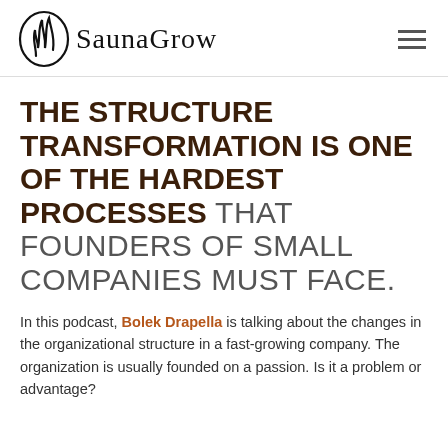[Figure (logo): SaunaGrow logo with flame/wave icon and serif wordmark]
THE STRUCTURE TRANSFORMATION IS ONE OF THE HARDEST PROCESSES that founders of small companies must face.
In this podcast, Bolek Drapella is talking about the changes in the organizational structure in a fast-growing company. The organization is usually founded on a passion. Is it a problem or advantage?